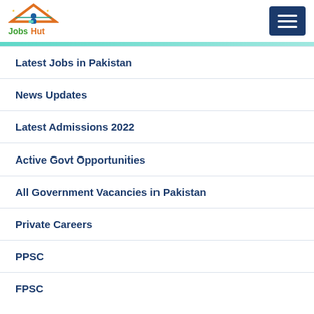[Figure (logo): Jobs Hut logo with house/roof icon and 'Jobs Hut' text in green and orange]
Latest Jobs in Pakistan
News Updates
Latest Admissions 2022
Active Govt Opportunities
All Government Vacancies in Pakistan
Private Careers
PPSC
FPSC